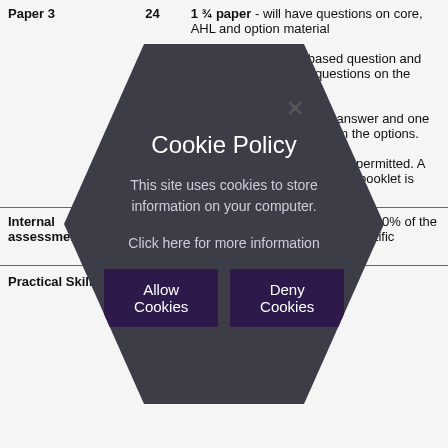| Component | Marks | Description |
| --- | --- | --- |
| Paper 3 | 24 | 1 ¾ paper - will have questions on core, AHL and option material
Section A: one data-based question and several short-answer questions on the practical work
Section B: one extended-answer and one short-answer question from the options.
The use of calculators is not permitted. A periodic table and other data booklet is provided by the school. |
| Internal assessment | 20 | The internal assessment, worth 20% of the final mark, consists of one scientific investigation. |
Practical Skills
[Figure (other): Cookie Policy overlay dialog in a dark hexagon shape. Contains title 'Cookie Policy', text 'This site uses cookies to store information on your computer.', link 'Click here for more information', and two buttons: 'Allow Cookies' and 'Deny Cookies'. An X close button appears in the upper area.]